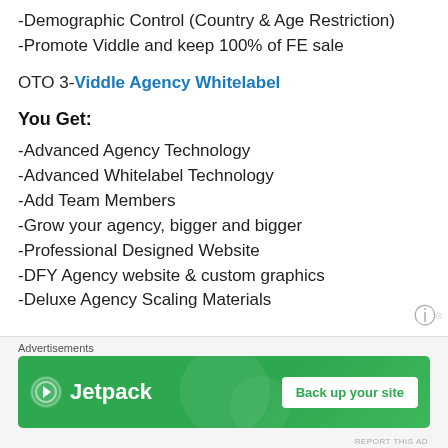-Demographic Control (Country & Age Restriction)
-Promote Viddle and keep 100% of FE sale
OTO 3-Viddle Agency Whitelabel
You Get:
-Advanced Agency Technology
-Advanced Whitelabel Technology
-Add Team Members
-Grow your agency, bigger and bigger
-Professional Designed Website
-DFY Agency website & custom graphics
-Deluxe Agency Scaling Materials
[Figure (infographic): Jetpack advertisement banner with green background, Jetpack logo, and 'Back up your site' button]